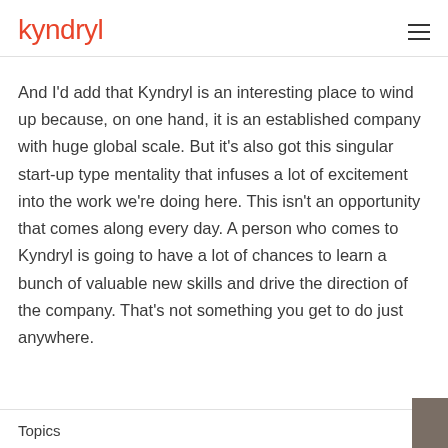kyndryl
And I'd add that Kyndryl is an interesting place to wind up because, on one hand, it is an established company with huge global scale. But it's also got this singular start-up type mentality that infuses a lot of excitement into the work we're doing here. This isn't an opportunity that comes along every day. A person who comes to Kyndryl is going to have a lot of chances to learn a bunch of valuable new skills and drive the direction of the company. That's not something you get to do just anywhere.
Topics